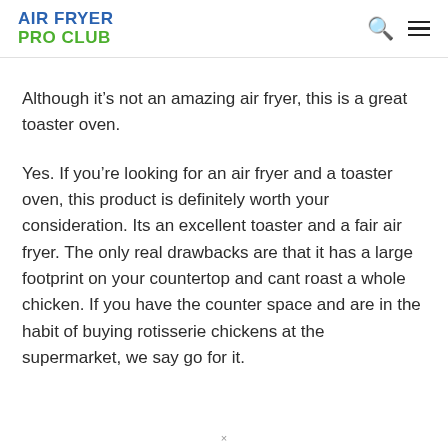AIR FRYER PRO CLUB
Although it’s not an amazing air fryer, this is a great toaster oven.
Yes. If you’re looking for an air fryer and a toaster oven, this product is definitely worth your consideration. Its an excellent toaster and a fair air fryer. The only real drawbacks are that it has a large footprint on your countertop and cant roast a whole chicken. If you have the counter space and are in the habit of buying rotisserie chickens at the supermarket, we say go for it.